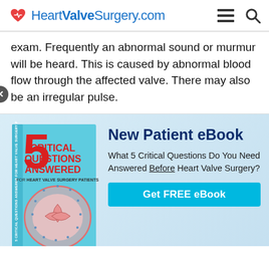HeartValveSurgery.com
exam. Frequently an abnormal sound or murmur will be heard. This is caused by abnormal blood flow through the affected valve. There may also be an irregular pulse.
[Figure (illustration): Book cover: '5 Critical Questions Answered For Heart Valve Surgery Patients' with a heart valve illustration]
New Patient eBook
What 5 Critical Questions Do You Need Answered Before Heart Valve Surgery?
Get FREE eBook